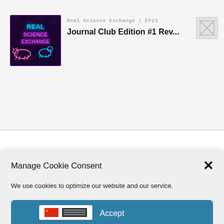[Figure (screenshot): Podcast app header showing 'Real Science Exchange | EP23' label, 'Journal Club Edition #1 Rev...' title, and a neon-sign podcast thumbnail image on the left. A gray placeholder image icon appears top right.]
Manage Cookie Consent
We use cookies to optimize our website and our service.
Accept
Cookie Policy
Dr. Logan Morris, Perdue
Episode 24: Energy Metabolism and Feed Efficiency — Feeding the Metabolic Race Car